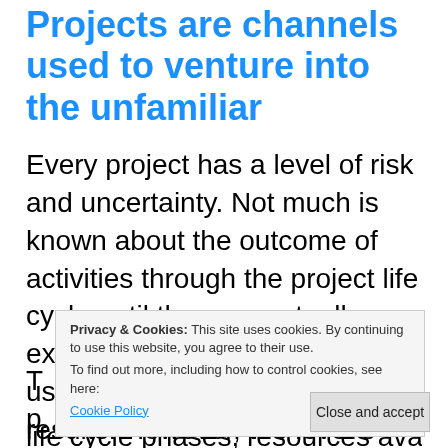Projects are channels used to venture into the unfamiliar
Every project has a level of risk and uncertainty. Not much is known about the outcome of activities through the project life cycle until they are actually executed. Hence, projects are usually based on projections of results. However, the level o[f uncertainty depends on the project] T[he level of uncertainty varies across] p[roject] life cycle phases, resources available, and also the toolset adopted to execute the
Privacy & Cookies: This site uses cookies. By continuing to use this website, you agree to their use.
To find out more, including how to control cookies, see here:
Cookie Policy
Close and accept